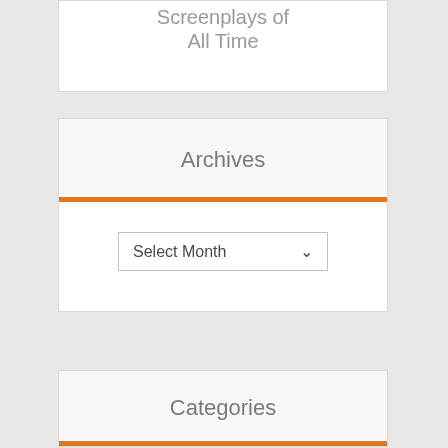Screenplays of All Time
Archives
Select Month
Categories